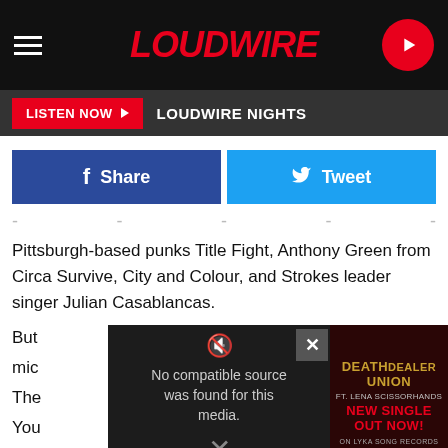LOUDWIRE
LISTEN NOW LOUDWIRE NIGHTS
[Figure (screenshot): Facebook Share button and Twitter Tweet button]
Pittsburgh-based punks Title Fight, Anthony Green from Circa Survive, City and Colour, and Strokes leader singer Julian Casablancas.
[Figure (screenshot): Overlapping video player showing 'No compatible source was found for this media.' with an advertisement panel for Death Dealer Union ft. Lena Scissorhands - New Single Out Now on Lyka Song Records, with a close X button]
up early for the TPM appearance. They played with a